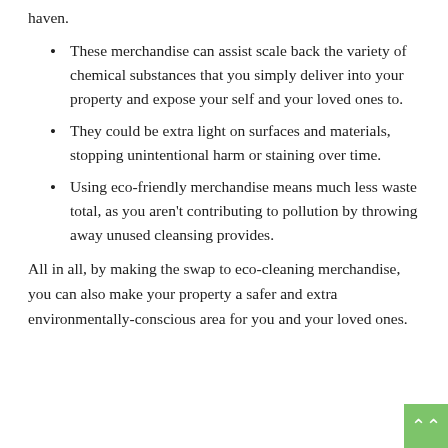haven.
These merchandise can assist scale back the variety of chemical substances that you simply deliver into your property and expose your self and your loved ones to.
They could be extra light on surfaces and materials, stopping unintentional harm or staining over time.
Using eco-friendly merchandise means much less waste total, as you aren't contributing to pollution by throwing away unused cleansing provides.
All in all, by making the swap to eco-cleaning merchandise, you can also make your property a safer and extra environmentally-conscious area for you and your loved ones.